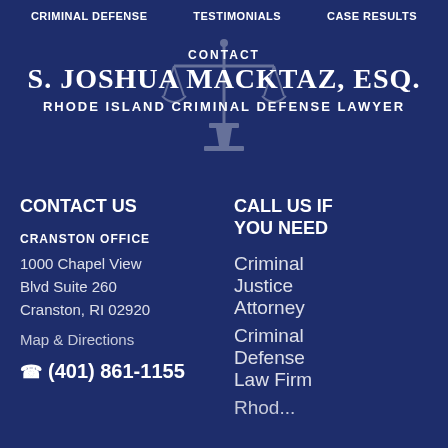CRIMINAL DEFENSE   TESTIMONIALS   CASE RESULTS
CONTACT
S. JOSHUA MACKTAZ, ESQ.
RHODE ISLAND CRIMINAL DEFENSE LAWYER
CONTACT US
CRANSTON OFFICE
1000 Chapel View Blvd Suite 260
Cranston, RI 02920
Map & Directions
(401) 861-1155
CALL US IF YOU NEED
Criminal Justice Attorney
Criminal Defense Law Firm
Rhode...